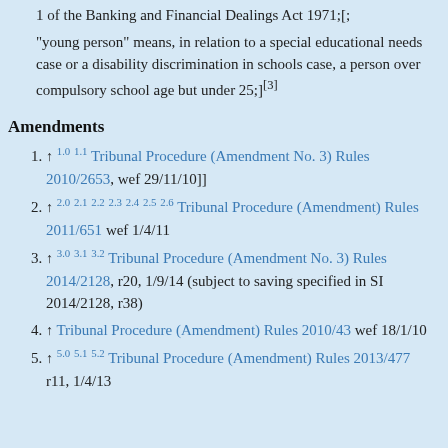1 of the Banking and Financial Dealings Act 1971;[;
“young person” means, in relation to a special educational needs case or a disability discrimination in schools case, a person over compulsory school age but under 25;][3]
Amendments
↑ 1.0 1.1 Tribunal Procedure (Amendment No. 3) Rules 2010/2653, wef 29/11/10]]
↑ 2.0 2.1 2.2 2.3 2.4 2.5 2.6 Tribunal Procedure (Amendment) Rules 2011/651 wef 1/4/11
↑ 3.0 3.1 3.2 Tribunal Procedure (Amendment No. 3) Rules 2014/2128, r20, 1/9/14 (subject to saving specified in SI 2014/2128, r38)
↑ Tribunal Procedure (Amendment) Rules 2010/43 wef 18/1/10
↑ 5.0 5.1 5.2 Tribunal Procedure (Amendment) Rules 2013/477 r11, 1/4/13